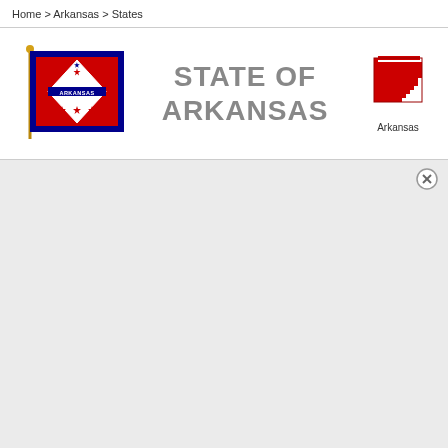Home > Arkansas > States
STATE OF ARKANSAS
[Figure (illustration): Arkansas state flag — red background with blue border, white diamond in center containing the word ARKANSAS, with stars and blue bar]
[Figure (map): Small pixelated red silhouette map icon of the state of Arkansas, labeled 'Arkansas']
Arkansas